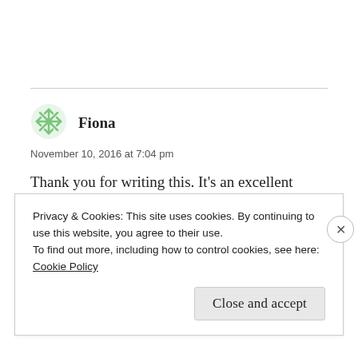[Figure (illustration): Green snowflake/asterisk avatar icon for user Fiona]
Fiona
November 10, 2016 at 7:04 pm
Thank you for writing this. It's an excellent letter.
Privacy & Cookies: This site uses cookies. By continuing to use this website, you agree to their use.
To find out more, including how to control cookies, see here:
Cookie Policy
Close and accept